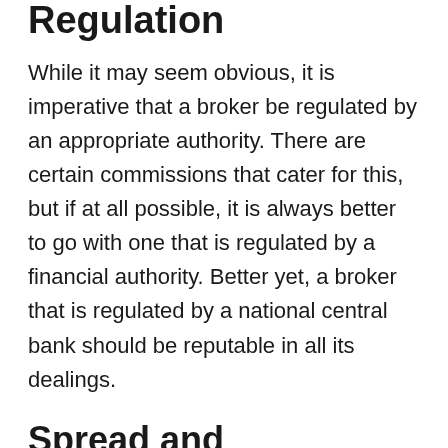Regulation
While it may seem obvious, it is imperative that a broker be regulated by an appropriate authority. There are certain commissions that cater for this, but if at all possible, it is always better to go with one that is regulated by a financial authority. Better yet, a broker that is regulated by a national central bank should be reputable in all its dealings.
Spread and Transaction Fees
Your brokerage, whichever one you chose, will charge you in some way or other. This is to be expected. After all, they are offering a service. Many people seek a broker that simply offers